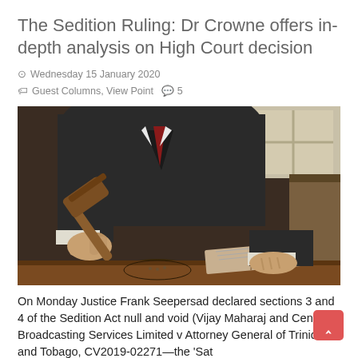The Sedition Ruling: Dr Crowne offers in-depth analysis on High Court decision
Wednesday 15 January 2020
Guest Columns, View Point  5
[Figure (photo): A judge or court official wearing a dark suit striking a wooden gavel on a sound block on a wooden desk, with an open book visible in the background.]
On Monday Justice Frank Seepersad declared sections 3 and 4 of the Sedition Act null and void (Vijay Maharaj and Central Broadcasting Services Limited v Attorney General of Trinidad and Tobago, CV2019-02271—the 'Sat